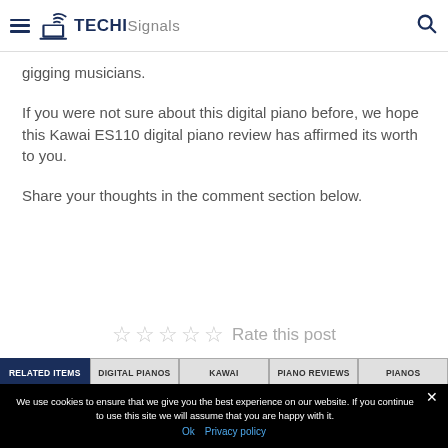TECHI Signals
gigging musicians.
If you were not sure about this digital piano before, we hope this Kawai ES110 digital piano review has affirmed its worth to you.
Share your thoughts in the comment section below.
[Figure (other): Five empty star rating icons with text 'Rate this post']
RELATED ITEMS | DIGITAL PIANOS | KAWAI | PIANO REVIEWS | PIANOS
We use cookies to ensure that we give you the best experience on our website. If you continue to use this site we will assume that you are happy with it.